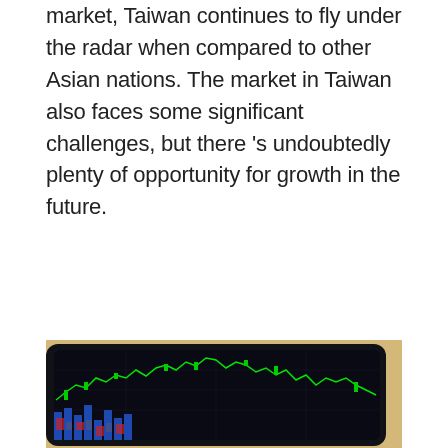market, Taiwan continues to fly under the radar when compared to other Asian nations. The market in Taiwan also faces some significant challenges, but there 's undoubtedly plenty of opportunity for growth in the future.
[Figure (photo): A close-up photograph of a tablet or screen displaying financial stock market charts with green candlestick/line charts and blue and red bar charts on a dark background, placed on a light wooden surface.]